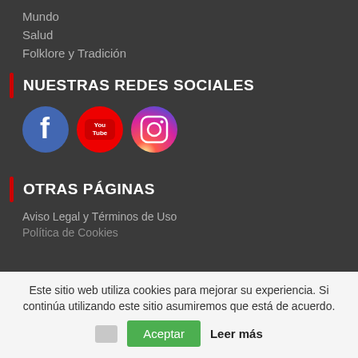Mundo
Salud
Folklore y Tradición
NUESTRAS REDES SOCIALES
[Figure (logo): Social media icons: Facebook, YouTube, Instagram]
OTRAS PÁGINAS
Aviso Legal y Términos de Uso
Política de Cookies
Este sitio web utiliza cookies para mejorar su experiencia. Si continúa utilizando este sitio asumiremos que está de acuerdo.
Aceptar  Leer más